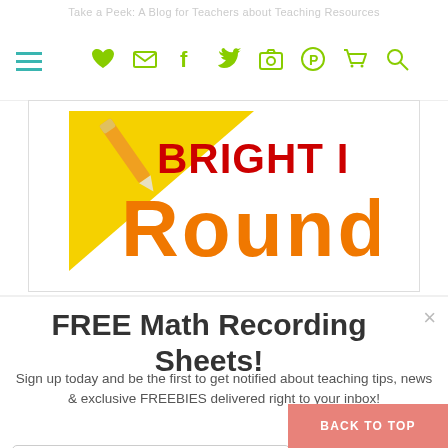Take a Peek: A Blog for Teachers about Teaching Resources
[Figure (logo): Bright Ideas Round Up blog logo with yellow corner, red BRIGHT I text and orange Round text]
FREE Math Recording Sheets!
Sign up today and be the first to get notified about teaching tips, news & exclusive FREEBIES delivered right to your inbox!
Email Address
Subscribe
We won't send you spam. Unsubscribe at any time.
Powered by ConvertKit